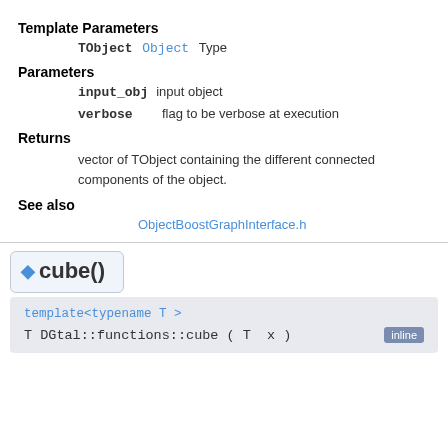Template Parameters
TObject Object Type
Parameters
input_obj   input object
verbose   flag to be verbose at execution
Returns
vector of TObject containing the different connected components of the object.
See also
ObjectBoostGraphInterface.h
cube()
template<typename T >
T DGtal::functions::cube ( T x )   inline